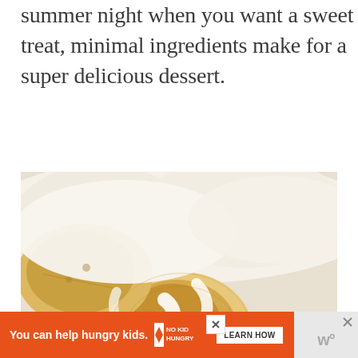summer night when you want a sweet treat, minimal ingredients make for a super delicious dessert.
[Figure (photo): Close-up photograph of toasted marshmallows with white cream/frosting on top of rich dark chocolate brownie cake, showing golden-brown toasted marshmallow texture and moist chocolate crumb]
You can help hungry kids. NOKID HUNGRY LEARN HOW